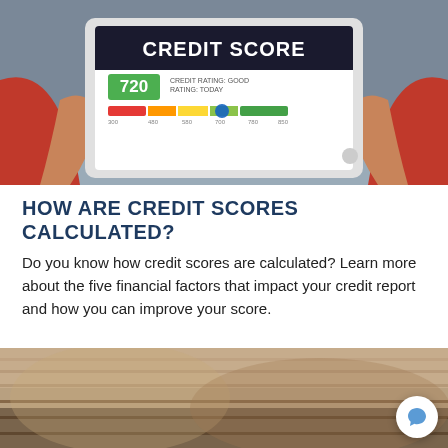[Figure (photo): Person holding a tablet displaying a credit score of 720 with a good rating, shown on a colorful gauge bar from red to green. The person is wearing a red jacket.]
HOW ARE CREDIT SCORES CALCULATED?
Do you know how credit scores are calculated? Learn more about the five financial factors that impact your credit report and how you can improve your score.
[Figure (photo): Bottom portion of a photo showing stacked books or documents with warm brown tones, partially visible. A chat bubble icon with a blue speech bubble appears in the lower right corner.]